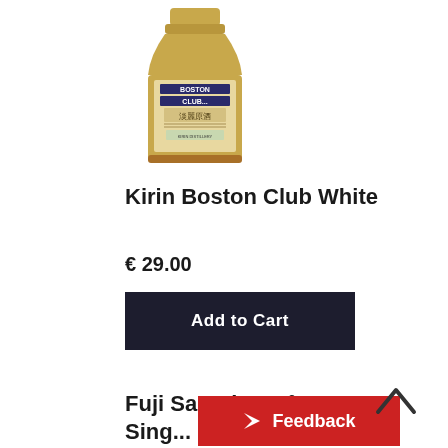[Figure (photo): Bottle of Kirin Boston Club White whisky with label showing BOSTON CLUB and Japanese characters]
Kirin Boston Club White
€ 29.00
Add to Cart
Fuji Sanraku 50° Single Malt Whi...
Feedback